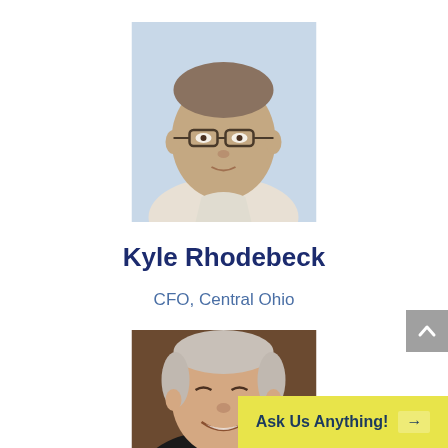[Figure (photo): Headshot photo of Kyle Rhodebeck, a middle-aged man with glasses and short gray-brown hair, wearing a light plaid shirt, against a light blue background]
Kyle Rhodebeck
CFO, Central Ohio
[Figure (photo): Headshot photo of an older man with white/gray hair, smiling, wearing a dark suit, against a brown background]
Ask Us Anything!